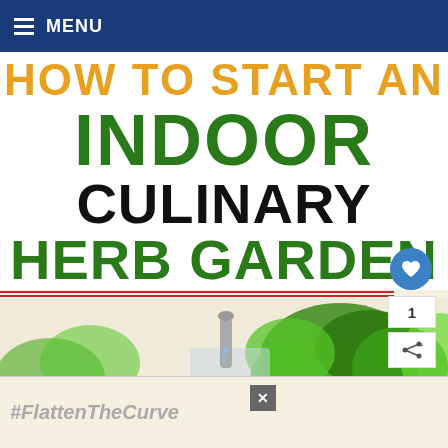MENU
HOW TO START AN INDOOR CULINARY HERB GARDEN
[Figure (photo): Photo of herb plants being watered at a sink, with green leafy herbs in the foreground on a cream/beige background]
#FlattenTheCurve